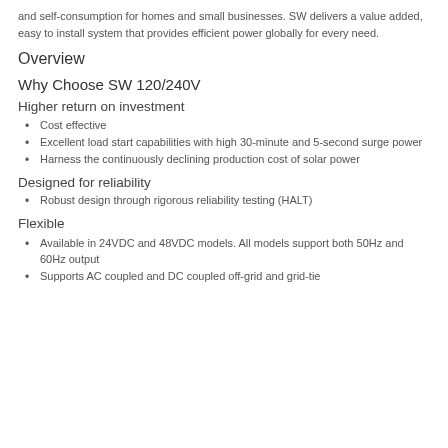and self-consumption for homes and small businesses. SW delivers a value added, easy to install system that provides efficient power globally for every need.
Overview
Why Choose SW 120/240V
Higher return on investment
Cost effective
Excellent load start capabilities with high 30-minute and 5-second surge power
Harness the continuously declining production cost of solar power
Designed for reliability
Robust design through rigorous reliability testing (HALT)
Flexible
Available in 24VDC and 48VDC models. All models support both 50Hz and 60Hz output
Supports AC coupled and DC coupled off-grid and grid-tie